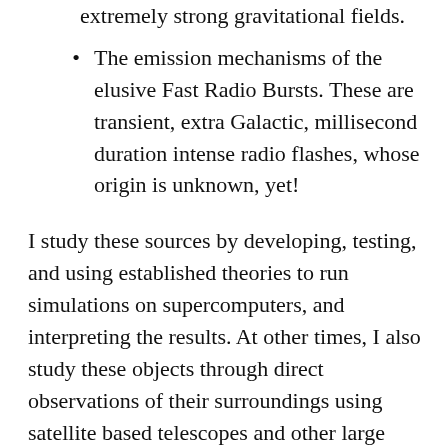extremely strong gravitational fields.
The emission mechanisms of the elusive Fast Radio Bursts. These are transient, extra Galactic, millisecond duration intense radio flashes, whose origin is unknown, yet!
I study these sources by developing, testing, and using established theories to run simulations on supercomputers, and interpreting the results. At other times, I also study these objects through direct observations of their surroundings using satellite based telescopes and other large arrays of land-based telescopes.